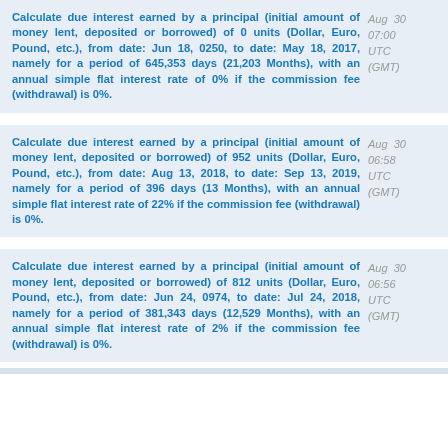Calculate due interest earned by a principal (initial amount of money lent, deposited or borrowed) of 0 units (Dollar, Euro, Pound, etc.), from date: Jun 18, 0250, to date: May 18, 2017, namely for a period of 645,353 days (21,203 Months), with an annual simple flat interest rate of 0% if the commission fee (withdrawal) is 0%.
Aug 30 07:00 UTC (GMT)
Calculate due interest earned by a principal (initial amount of money lent, deposited or borrowed) of 952 units (Dollar, Euro, Pound, etc.), from date: Aug 13, 2018, to date: Sep 13, 2019, namely for a period of 396 days (13 Months), with an annual simple flat interest rate of 22% if the commission fee (withdrawal) is 0%.
Aug 30 06:58 UTC (GMT)
Calculate due interest earned by a principal (initial amount of money lent, deposited or borrowed) of 812 units (Dollar, Euro, Pound, etc.), from date: Jun 24, 0974, to date: Jul 24, 2018, namely for a period of 381,343 days (12,529 Months), with an annual simple flat interest rate of 2% if the commission fee (withdrawal) is 0%.
Aug 30 06:56 UTC (GMT)